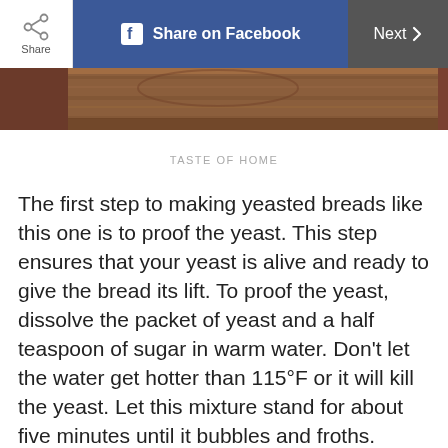[Figure (screenshot): Top navigation bar with Share button, Share on Facebook button (blue), and Next button (dark gray)]
[Figure (photo): Partial photo of a wooden cutting board or table surface, brown wood grain texture]
TASTE OF HOME
The first step to making yeasted breads like this one is to proof the yeast. This step ensures that your yeast is alive and ready to give the bread its lift. To proof the yeast, dissolve the packet of yeast and a half teaspoon of sugar in warm water. Don't let the water get hotter than 115°F or it will kill the yeast. Let this mixture stand for about five minutes until it bubbles and froths. Here's how you can find the best type of yeast for your bread.